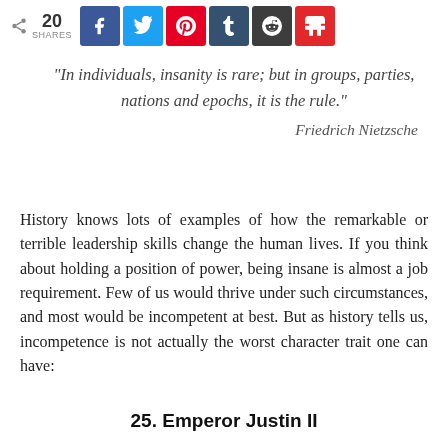20 SHARES
“In individuals, insanity is rare; but in groups, parties, nations and epochs, it is the rule.”
Friedrich Nietzsche
History knows lots of examples of how the remarkable or terrible leadership skills change the human lives. If you think about holding a position of power, being insane is almost a job requirement. Few of us would thrive under such circumstances, and most would be incompetent at best. But as history tells us, incompetence is not actually the worst character trait one can have:
25. Emperor Justin II